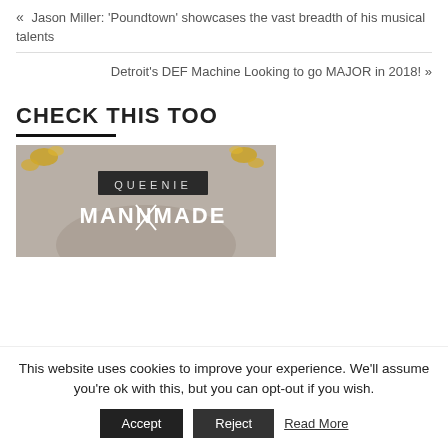« Jason Miller: 'Poundtown' showcases the vast breadth of his musical talents
Detroit's DEF Machine Looking to go MAJOR in 2018! »
CHECK THIS TOO
[Figure (photo): Album cover or promotional image for Queenie Mannmade]
This website uses cookies to improve your experience. We'll assume you're ok with this, but you can opt-out if you wish.
Accept  Reject  Read More